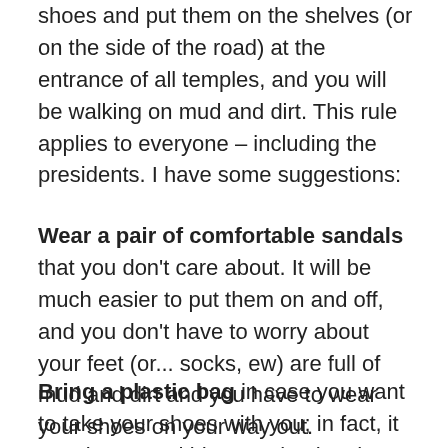shoes and put them on the shelves (or on the side of the road) at the entrance of all temples, and you will be walking on mud and dirt. This rule applies to everyone – including the presidents. I have some suggestions:
Wear a pair of comfortable sandals that you don't care about. It will be much easier to put them on and off, and you don't have to worry about your feet (or... socks, ew) are full of mud and dirt and you have to wear your shoes on your way out.
Bring a plastic bag in case you want to take your shoes with you; in fact, it may be a good idea to take the shoes with you because some temples are huge. You might have a difficult time finding